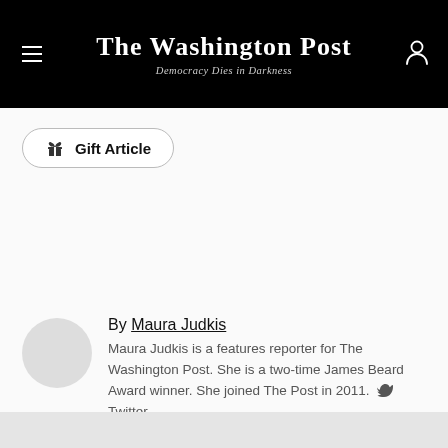The Washington Post — Democracy Dies in Darkness
Gift Article
By Maura Judkis
Maura Judkis is a features reporter for The Washington Post. She is a two-time James Beard Award winner. She joined The Post in 2011. Twitter